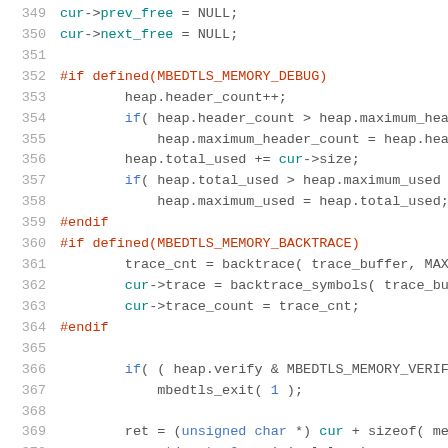Source code listing lines 349-370, C preprocessor and memory management code
349     cur->prev_free = NULL;
350     cur->next_free = NULL;
351
352 #if defined(MBEDTLS_MEMORY_DEBUG)
353         heap.header_count++;
354         if( heap.header_count > heap.maximum_header_
355             heap.maximum_header_count = heap.header_
356         heap.total_used += cur->size;
357         if( heap.total_used > heap.maximum_used )
358             heap.maximum_used = heap.total_used;
359 #endif
360 #if defined(MBEDTLS_MEMORY_BACKTRACE)
361         trace_cnt = backtrace( trace_buffer, MAX_BT
362         cur->trace = backtrace_symbols( trace_buffe
363         cur->trace_count = trace_cnt;
364 #endif
365
366         if( ( heap.verify & MBEDTLS_MEMORY_VERIFY_A
367             mbedtls_exit( 1 );
368
369         ret = (unsigned char *) cur + sizeof( memory
370         memset( ret, 0, original_len );